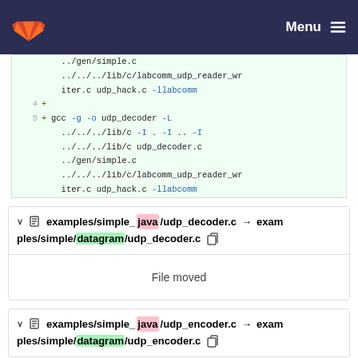GitLab navigation bar with Menu
../gen/simple.c
../../../lib/c/labcomm_udp_reader_writer.c udp_hack.c -llabcomm
4 +
5 + gcc -g -o udp_decoder -L ../../../lib/c -I . -I .. -I ../../../lib/c udp_decoder.c ../gen/simple.c ../../../lib/c/labcomm_udp_reader_writer.c udp_hack.c -llabcomm
examples/simple_java/udp_decoder.c → examples/simple/datagram/udp_decoder.c
File moved
examples/simple_java/udp_encoder.c → examples/simple/datagram/udp_encoder.c